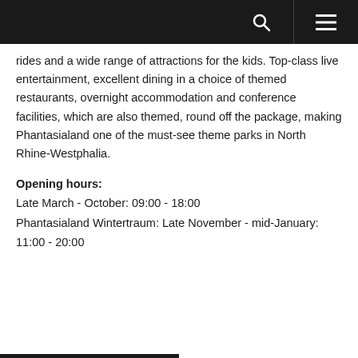Navigation bar with search and menu icons
rides and a wide range of attractions for the kids. Top-class live entertainment, excellent dining in a choice of themed restaurants, overnight accommodation and conference facilities, which are also themed, round off the package, making Phantasialand one of the must-see theme parks in North Rhine-Westphalia.
Opening hours:
Late March - October: 09:00 - 18:00
Phantasialand Wintertraum: Late November - mid-January: 11:00 - 20:00